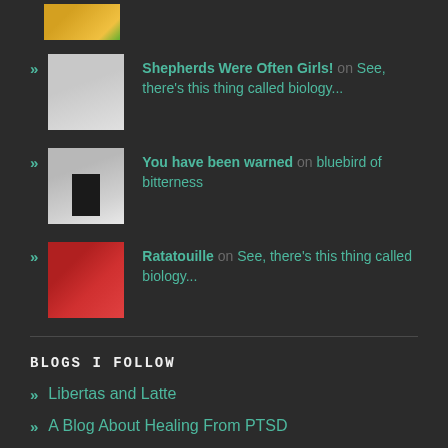[Figure (photo): Partial thumbnail image at top, cut off]
Shepherds Were Often Girls! on See, there's this thing called biology...
You have been warned on bluebird of bitterness
Ratatouille on See, there's this thing called biology...
BLOGS I FOLLOW
Libertas and Latte
A Blog About Healing From PTSD
Blue Skies and Green Pastures
See, there's this thing called biology...
A Refuse To Follow Your Blog (infinite)